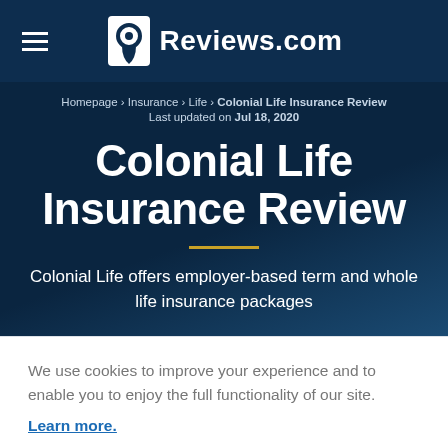Reviews.com
Homepage › Insurance › Life › Colonial Life Insurance Review Last updated on Jul 18, 2020
Colonial Life Insurance Review
Colonial Life offers employer-based term and whole life insurance packages
We use cookies to improve your experience and to enable you to enjoy the full functionality of our site. Learn more.
Cookie Settings | Accept Cookies